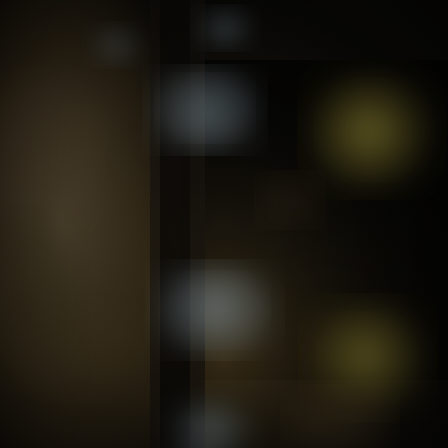[Figure (photo): A heavily blurred bokeh photograph showing a dark interior scene, possibly a wine cellar or bar, with a column or rack on the left side showing multiple blurred circular white/blue bokeh lights arranged vertically, and two larger golden/yellow bokeh circles on the right side against a very dark background. The image is entirely out of focus with warm brown and dark tones throughout.]